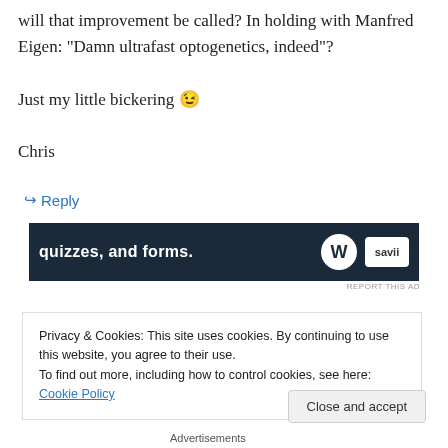will that improvement be called? In holding with Manfred Eigen: “Damn ultrafast optogenetics, indeed”?
Just my little bickering 😉
Chris
↪ Reply
[Figure (other): Dark navy advertisement banner showing text 'quizzes, and forms.' with WordPress logo and Savii logo on the right]
REPORT THIS AD
Privacy & Cookies: This site uses cookies. By continuing to use this website, you agree to their use.
To find out more, including how to control cookies, see here: Cookie Policy
Close and accept
Advertisements